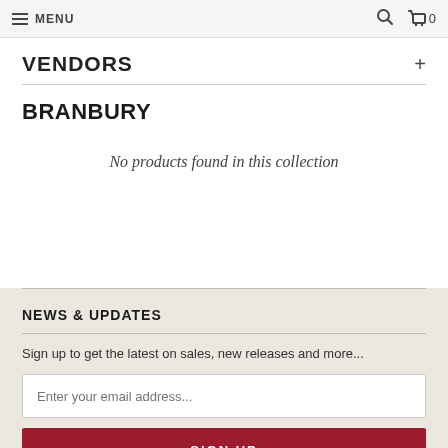MENU  🔍 🛒 0
VENDORS +
BRANBURY
No products found in this collection
NEWS & UPDATES
Sign up to get the latest on sales, new releases and more...
Enter your email address...
SIGN UP